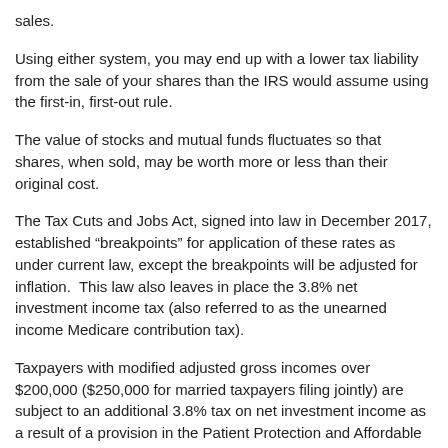sales.
Using either system, you may end up with a lower tax liability from the sale of your shares than the IRS would assume using the first-in, first-out rule.
The value of stocks and mutual funds fluctuates so that shares, when sold, may be worth more or less than their original cost.
The Tax Cuts and Jobs Act, signed into law in December 2017, established “breakpoints” for application of these rates as under current law, except the breakpoints will be adjusted for inflation. This law also leaves in place the 3.8% net investment income tax (also referred to as the unearned income Medicare contribution tax).
Taxpayers with modified adjusted gross incomes over $200,000 ($250,000 for married taxpayers filing jointly) are subject to an additional 3.8% tax on net investment income as a result of a provision in the Patient Protection and Affordable Care Act.